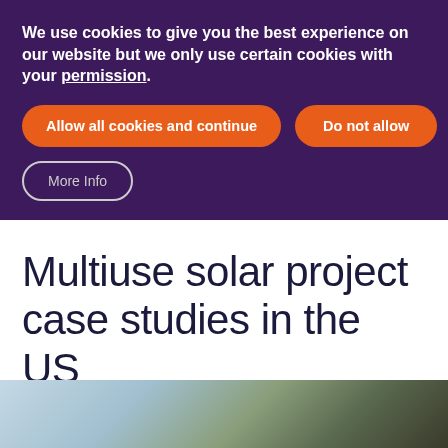We use cookies to give you the best experience on our website but we only use certain cookies with your permission.
Allow all cookies and continue
Do not allow
More Info
Multiuse solar project case studies in the US
[Figure (photo): Partial view of a solar panel installation or industrial structure, showing metal framework and panels against a light sky background.]